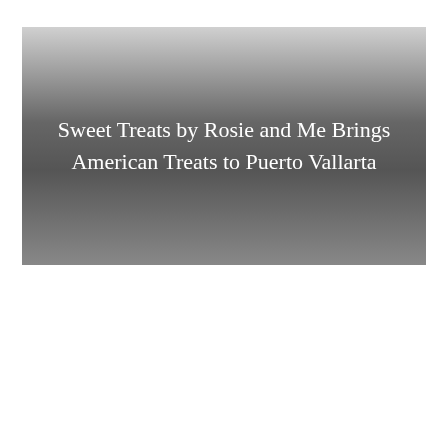[Figure (photo): A banner image with a gradient background (light gray at top fading to dark gray in the middle and lightening again at the bottom) containing centered white text reading 'Sweet Treats by Rosie and Me Brings American Treats to Puerto Vallarta']
Sweet Treats by Rosie and Me Brings American Treats to Puerto Vallarta